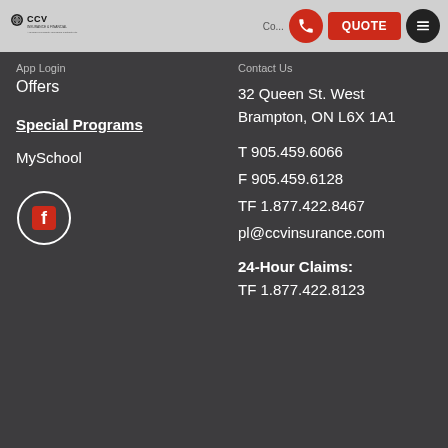CCV Insurance & Financial — App Login | Contact | QUOTE
App Login
Offers
Special Programs
MySchool
[Figure (logo): Facebook icon in a circle]
Contact Us
32 Queen St. West
Brampton, ON L6X 1A1
T 905.459.6066
F 905.459.6128
TF 1.877.422.8467
pl@ccvinsurance.com
24-Hour Claims:
TF 1.877.422.8123